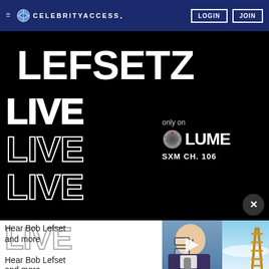CELEBRITYACCESS. LOGIN JOIN
[Figure (screenshot): Lefsetz Live promotional image — black background with large bold white LEFSETZ text at top, then LIVE LIVE LIVE LIVE stacked in large outlined white letters on left, and 'only on VOLUME SXM CH. 106' on the right side. A close button (X) in dark circle at bottom right of the ad overlay. Below: partial bottom strip showing a man with glasses and microphone on left, and a ladder image on right.]
Hear Bob Lefset and more